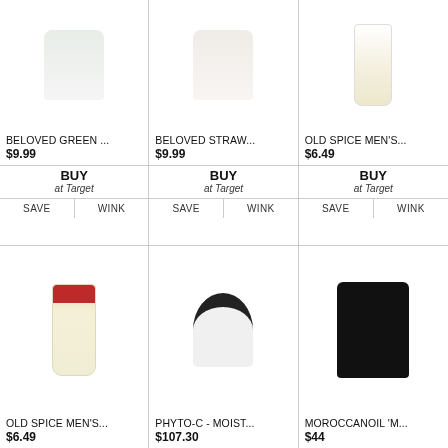[Figure (photo): Product image of Beloved Green soap/body wash, top portion visible]
BELOVED GREEN ...
$9.99
BUY at Target
SAVE | WINK
[Figure (photo): Product image of Beloved Strawberry soap/body wash, top portion visible]
BELOVED STRAW...
$9.99
BUY at Target
SAVE | WINK
[Figure (photo): Product image of Old Spice Men's product, top portion visible]
OLD SPICE MEN'S...
$6.49
BUY at Target
SAVE | WINK
[Figure (photo): Old Spice Men's body wash bottle with red cap and cream/tan label]
OLD SPICE MEN'S...
$6.49
[Figure (photo): Phyto-C moisturizer jar with black lid and orange sunburst logo]
PHYTO-C - MOIST...
$107.30
[Figure (photo): Woman wearing a black hooded puffer/down jacket with jeans]
MOROCCANOIL 'M...
$44